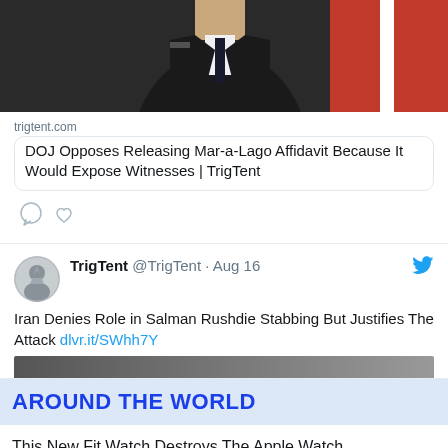[Figure (photo): Top portion of a tweet showing a photo of a person in dark suit with blurred background including a flag]
trigtent.com
DOJ Opposes Releasing Mar-a-Lago Affidavit Because It Would Expose Witnesses | TrigTent
[Figure (other): Tweet action icons: comment bubble and heart]
TrigTent @TrigTent · Aug 16
Iran Denies Role in Salman Rushdie Stabbing But Justifies The Attack dlvr.it/SWhh7Y
AROUND THE WORLD
This New Fit Watch Destroys The Apple Watch
Voted Most Innovative Wireless Headphones
How To Remove Lip Lines & Aging Eye Bags In Under 3 Minutes